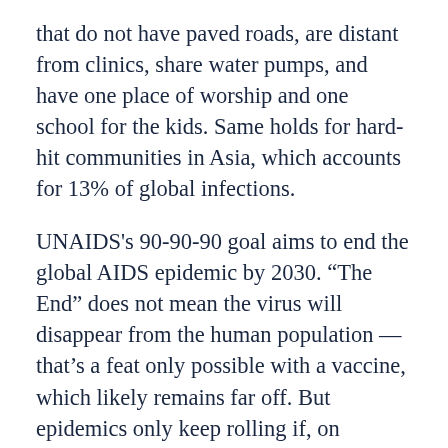that do not have paved roads, are distant from clinics, share water pumps, and have one place of worship and one school for the kids. Same holds for hard-hit communities in Asia, which accounts for 13% of global infections.
UNAIDS's 90-90-90 goal aims to end the global AIDS epidemic by 2030. “The End” does not mean the virus will disappear from the human population — that’s a feat only possible with a vaccine, which likely remains far off. But epidemics only keep rolling if, on average, each infected person transmits the virus to at least one other person. Over time, the decreasing number of people infecting others will cause the epidemic to peter out. The End also means